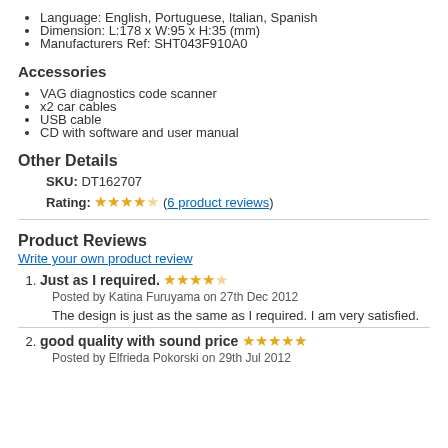Language: English, Portuguese, Italian, Spanish
Dimension: L:178 x W:95 x H:35 (mm)
Manufacturers Ref: SHT043F910A0
Accessories
VAG diagnostics code scanner
x2 car cables
USB cable
CD with software and user manual
Other Details
SKU: DT162707
Rating: ★★★★☆ (6 product reviews)
Product Reviews
Write your own product review
1. Just as I required. ★★★★☆
Posted by Katina Furuyama on 27th Dec 2012
The design is just as the same as I required. I am very satisfied.
2. good quality with sound price ★★★★★
Posted by Elfrieda Pokorski on 29th Jul 2012